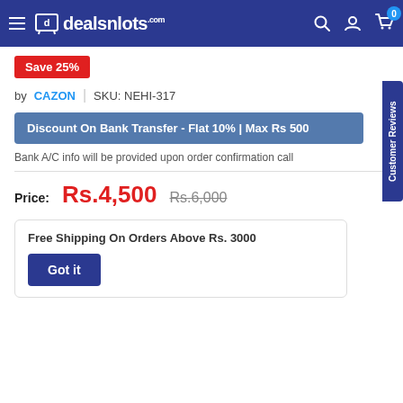[Figure (screenshot): dealsnlots.com e-commerce website navigation bar with logo, search, account and cart icons]
Save 25%
by CAZON | SKU: NEHI-317
Discount On Bank Transfer - Flat 10% | Max Rs 500
Bank A/C info will be provided upon order confirmation call
Price: Rs.4,500  Rs.6,000
Free Shipping On Orders Above Rs. 3000
Got it